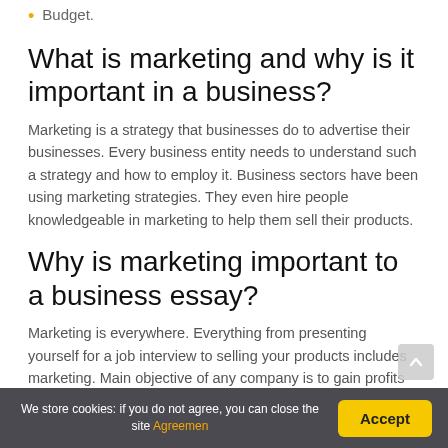Budget.
What is marketing and why is it important in a business?
Marketing is a strategy that businesses do to advertise their businesses. Every business entity needs to understand such a strategy and how to employ it. Business sectors have been using marketing strategies. They even hire people knowledgeable in marketing to help them sell their products.
Why is marketing important to a business essay?
Marketing is everywhere. Everything from presenting yourself for a job interview to selling your products includes marketing. Main objective of any company is to gain profits which can be achieved through marketing of their products...
We store cookies: if you do not agree, you can close the site Agreemen